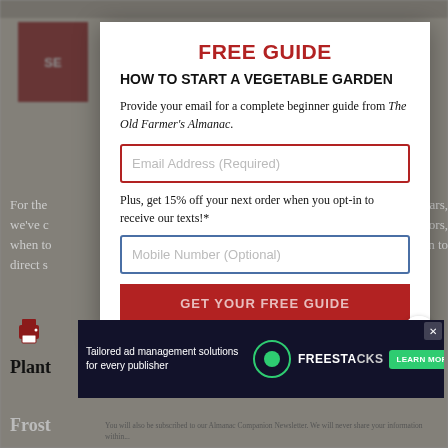FREE GUIDE
HOW TO START A VEGETABLE GARDEN
Provide your email for a complete beginner guide from The Old Farmer's Almanac.
Email Address (Required)
Plus, get 15% off your next order when you opt-in to receive our texts!*
Mobile Number (Optional)
GET YOUR FREE GUIDE
[Figure (screenshot): Advertisement banner: 'Tailored ad management solutions for every publisher' with Freestacks logo and Learn More button]
You will also be subscribed to our Almanac Companion Newsletter. We will never share your information within...